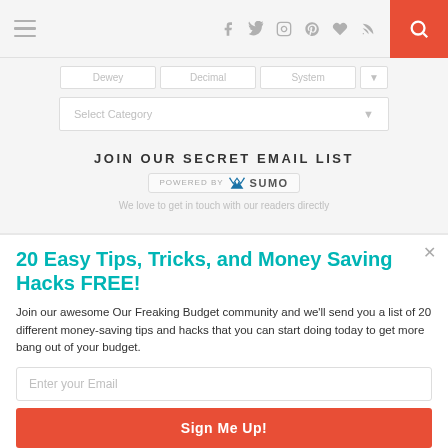Navigation bar with hamburger menu, social icons (facebook, twitter, instagram, pinterest, heart, rss), and search button
[Figure (screenshot): Partial website UI showing filter dropdowns (Dewey, Decimal, System) and a Select Category dropdown below them, followed by a JOIN OUR SECRET EMAIL LIST heading and POWERED BY SUMO badge]
20 Easy Tips, Tricks, and Money Saving Hacks FREE!
Join our awesome Our Freaking Budget community and we'll send you a list of 20 different money-saving tips and hacks that you can start doing today to get more bang out of your budget.
Enter your Email
Sign Me Up!